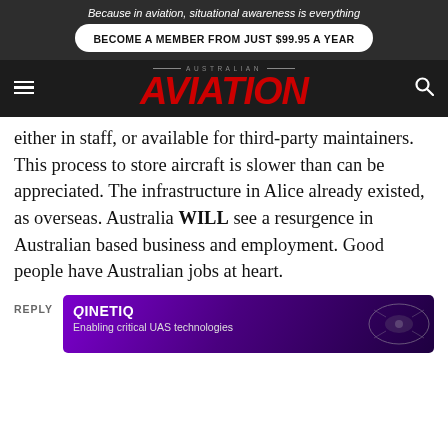Because in aviation, situational awareness is everything
[Figure (logo): Australian Aviation magazine logo with red italic AVIATION text on dark background, with hamburger menu icon and search icon]
either in staff, or available for third-party maintainers. This process to store aircraft is slower than can be appreciated. The infrastructure in Alice already existed, as overseas. Australia WILL see a resurgence in Australian based business and employment. Good people have Australian jobs at heart.
REPLY
[Figure (screenshot): QinetiQ advertisement banner. Text: QinetiQ — Enabling critical UAS technologies. Purple/dark background with drone imagery.]